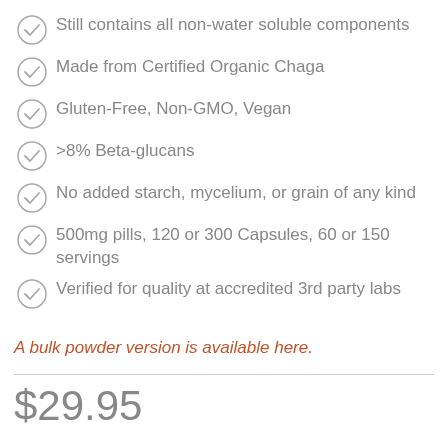Still contains all non-water soluble components
Made from Certified Organic Chaga
Gluten-Free, Non-GMO, Vegan
>8% Beta-glucans
No added starch, mycelium, or grain of any kind
500mg pills, 120 or 300 Capsules, 60 or 150 servings
Verified for quality at accredited 3rd party labs
A bulk powder version is available here.
$29.95